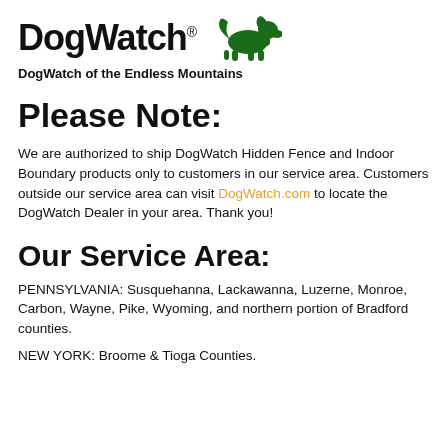[Figure (logo): DogWatch logo with large bold text 'DogWatch' with registered trademark symbol and a green dog silhouette to the right]
DogWatch of the Endless Mountains
Please Note:
We are authorized to ship DogWatch Hidden Fence and Indoor Boundary products only to customers in our service area. Customers outside our service area can visit DogWatch.com to locate the DogWatch Dealer in your area. Thank you!
Our Service Area:
PENNSYLVANIA: Susquehanna, Lackawanna, Luzerne, Monroe, Carbon, Wayne, Pike, Wyoming, and northern portion of Bradford counties.
NEW YORK: Broome & Tioga Counties.